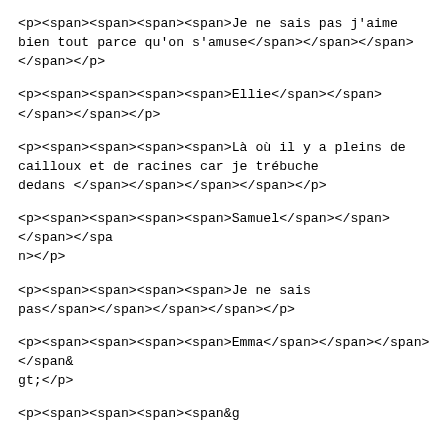&lt;p&gt;&lt;span&gt;&lt;span&gt;&lt;span&gt;&lt;span&gt;Je ne sais pas j'aime bien tout parce qu'on s'amuse&lt;/span&gt;&lt;/span&gt;&lt;/span&gt;&lt;/span&gt;&lt;/p&gt;
&lt;p&gt;&lt;span&gt;&lt;span&gt;&lt;span&gt;&lt;span&gt;Ellie&lt;/span&gt;&lt;/span&gt;&lt;/span&gt;&lt;/span&gt;&lt;/p&gt;
&lt;p&gt;&lt;span&gt;&lt;span&gt;&lt;span&gt;&lt;span&gt;Là où il y a pleins de cailloux et de racines car je trébuche dedans &lt;/span&gt;&lt;/span&gt;&lt;/span&gt;&lt;/span&gt;&lt;/p&gt;
&lt;p&gt;&lt;span&gt;&lt;span&gt;&lt;span&gt;&lt;span&gt;Samuel&lt;/span&gt;&lt;/span&gt;&lt;/span&gt;&lt;/span&gt;&lt;/p&gt;
&lt;p&gt;&lt;span&gt;&lt;span&gt;&lt;span&gt;&lt;span&gt;Je ne sais pas&lt;/span&gt;&lt;/span&gt;&lt;/span&gt;&lt;/span&gt;&lt;/p&gt;
&lt;p&gt;&lt;span&gt;&lt;span&gt;&lt;span&gt;&lt;span&gt;Emma&lt;/span&gt;&lt;/span&gt;&lt;/span&gt;&lt;/span&gt;&lt;/p&gt;
&lt;p&gt;&lt;span&gt;&lt;span&gt;&lt;span&gt;&lt;span&gt;...